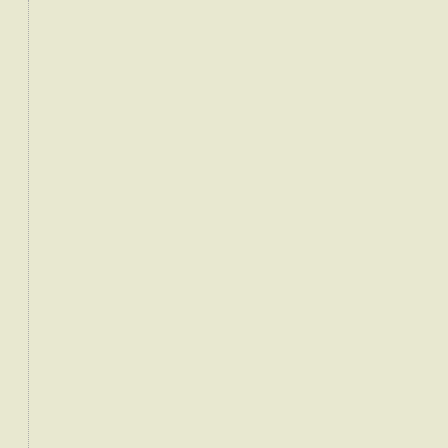is that the Church DID follow St. Thomas for hundreds of years after him, as well as for 1200 years before him, i.e. since the beginning. So, either the Bible and the early Church were FAR MORE AMBIGUOUS AND OBSCURE about just what is wrong in usury than all the Doctors (who addressed the issue) from about the 700s to about the 1500s seemed to think (and they got important critical points wrong in interpreting the Bible and the Fathers), or all modern commentators are inappropriately dismissing the Doctors' explanations of principle.
Note: I have read probably 6 or 7 modern attempts to thread the needle by saying both that "the Fathers were right...basically", and that "but today we can charge interest in a moral way". I am strongly inclined to think the needle can indeed be threaded, but I also think that all of these attempts have been rather less than adequate. Some badly so. And I have to admit that my inclination might be wrong, because when you look at the Fortescue Principle, it's unlikely, and the burden of proof is against the morality of interest-charging.
Neophyte   June 15, 2021 at 6:27 AM
Tony, do you agree with Zippy's condemnations of interest